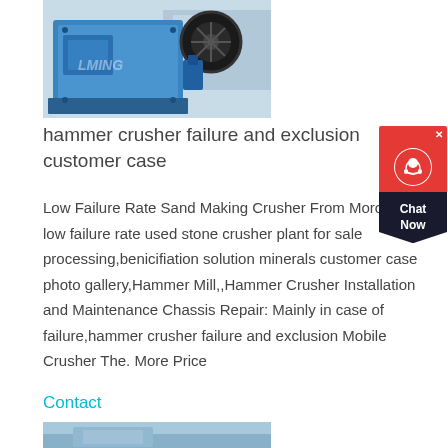[Figure (photo): Blue industrial jaw crusher / hammer crusher machine in a factory setting, with a large flywheel visible on the right side. LIMING brand watermark visible on the machine.]
hammer crusher failure and exclusion customer case
Low Failure Rate Sand Making Crusher From Morocco. low failure rate used stone crusher plant for sale processing,benicifiation solution minerals customer case photo gallery,Hammer Mill,,Hammer Crusher Installation and Maintenance Chassis Repair: Mainly in case of failure,hammer crusher failure and exclusion Mobile Crusher The. More Price
Contact
[Figure (photo): Partial view of another industrial machine or equipment, light blue tones visible at the bottom of the page.]